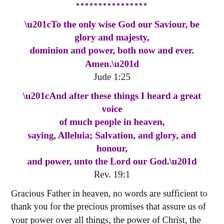****************
“To the only wise God our Saviour, be glory and majesty, dominion and power, both now and ever. Amen.”
Jude 1:25
“And after these things I heard a great voice of much people in heaven, saying, Alleluia; Salvation, and glory, and honour, and power, unto the Lord our God.”
Rev. 19:1
Gracious Father in heaven, no words are sufficient to thank you for the precious promises that assure us of your power over all things, the power of Christ, the